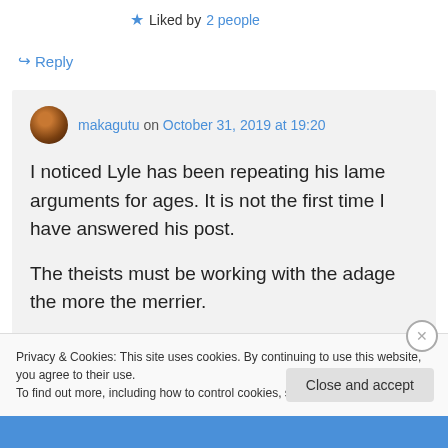★ Liked by 2 people
↪ Reply
makagutu on October 31, 2019 at 19:20
I noticed Lyle has been repeating his lame arguments for ages. It is not the first time I have answered his post.

The theists must be working with the adage the more the merrier.
Privacy & Cookies: This site uses cookies. By continuing to use this website, you agree to their use.
To find out more, including how to control cookies, see here: Cookie Policy